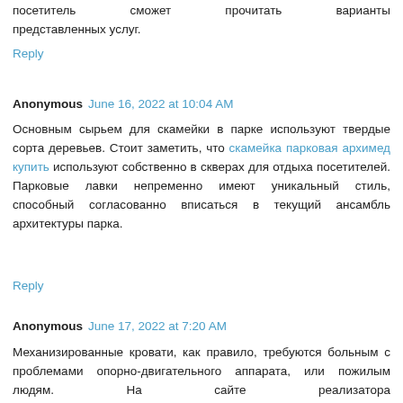посетитель сможет прочитать варианты представленных услуг.
Reply
Anonymous June 16, 2022 at 10:04 AM
Основным сырьем для скамейки в парке используют твердые сорта деревьев. Стоит заметить, что скамейка парковая архимед купить используют собственно в скверах для отдыха посетителей. Парковые лавки непременно имеют уникальный стиль, способный согласованно вписаться в текущий ансамбль архитектуры парка.
Reply
Anonymous June 17, 2022 at 7:20 AM
Механизированные кровати, как правило, требуются больным с проблемами опорно-двигательного аппарата, или пожилым людям. На сайте реализатора MED СПРОС детские медицинские кровати